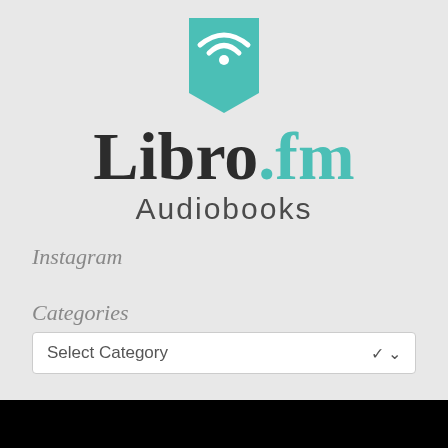[Figure (logo): Libro.fm Audiobooks logo with teal book/wifi icon above the wordmark]
Instagram
Categories
Select Category
[Figure (photo): Black bar at bottom of page, partial image]